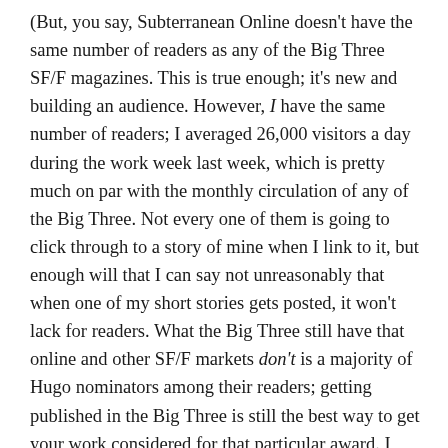(But, you say, Subterranean Online doesn't have the same number of readers as any of the Big Three SF/F magazines. This is true enough; it's new and building an audience. However, I have the same number of readers; I averaged 26,000 visitors a day during the work week last week, which is pretty much on par with the monthly circulation of any of the Big Three. Not every one of them is going to click through to a story of mine when I link to it, but enough will that I can say not unreasonably that when one of my short stories gets posted, it won't lack for readers. What the Big Three still have that online and other SF/F markets don't is a majority of Hugo nominators among their readers; getting published in the Big Three is still the best way to get your work considered for that particular award. I don't know that that will always be the case, however.)